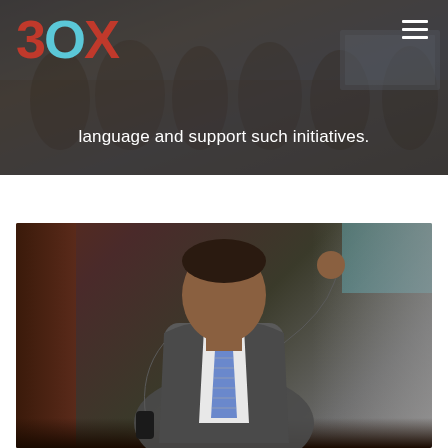[Figure (logo): 3OX logo with red 3, cyan O, red X letters]
language and support such initiatives.
[Figure (photo): A man in a grey suit with a blue striped tie, gesturing with his right hand raised, holding a remote in his left hand, appearing to give a presentation on stage]